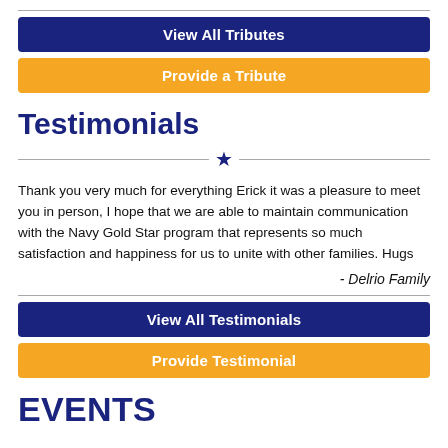View All Tributes
Provide a Tribute
Testimonials
Thank you very much for everything Erick it was a pleasure to meet you in person, I hope that we are able to maintain communication with the Navy Gold Star program that represents so much satisfaction and happiness for us to unite with other families. Hugs
- Delrio Family
View All Testimonials
Provide Testimonial
EVENTS